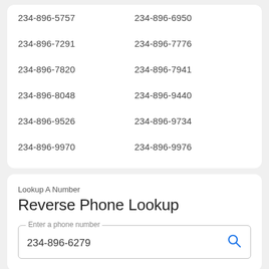234-896-5757
234-896-6950
234-896-7291
234-896-7776
234-896-7820
234-896-7941
234-896-8048
234-896-9440
234-896-9526
234-896-9734
234-896-9970
234-896-9976
Lookup A Number
Reverse Phone Lookup
234-896-6279
Get YouMail's Free Scam Protection
Protect yourself from scam calls.